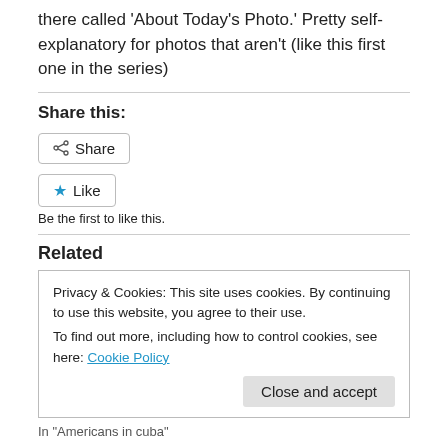there called ‘About Today’s Photo.’ Pretty self-explanatory for photos that aren’t (like this first one in the series)
Share this:
[Figure (other): Share button with share icon]
[Figure (other): Like button with blue star icon]
Be the first to like this.
Related
Privacy & Cookies: This site uses cookies. By continuing to use this website, you agree to their use.
To find out more, including how to control cookies, see here: Cookie Policy
Close and accept
In “Americans in cuba”